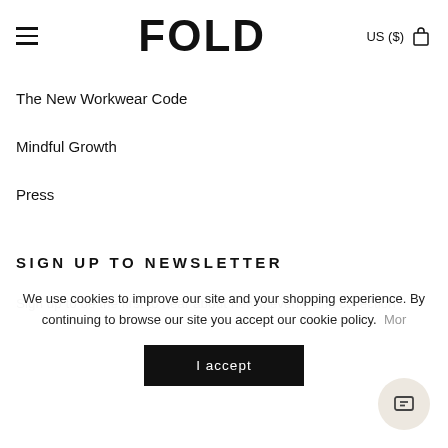FOLD  US ($)
The New Workwear Code
Mindful Growth
Press
SIGN UP TO NEWSLETTER
Sign up to be the first to hear about news, events and collection
We use cookies to improve our site and your shopping experience. By continuing to browse our site you accept our cookie policy.  More
I accept